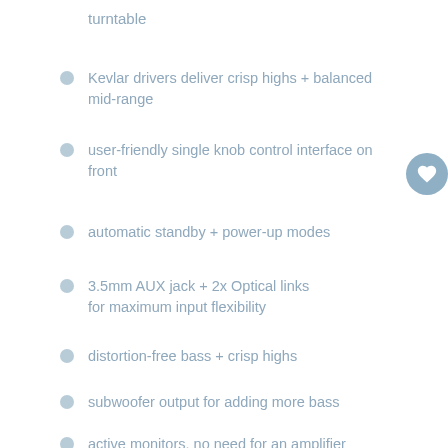turntable
Kevlar drivers deliver crisp highs + balanced mid-range
user-friendly single knob control interface on front
automatic standby + power-up modes
3.5mm AUX jack + 2x Optical links for maximum input flexibility
distortion-free bass + crisp highs
subwoofer output for adding more bass
active monitors, no need for an amplifier